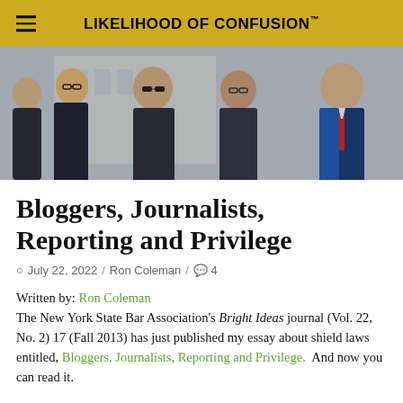LIKELIHOOD OF CONFUSION™
[Figure (photo): Group of men in suits standing outside, appearing at a press conference or legal proceeding]
Bloggers, Journalists, Reporting and Privilege
July 22, 2022 / Ron Coleman / 4
Written by: Ron Coleman
The New York State Bar Association's Bright Ideas journal (Vol. 22, No. 2) 17 (Fall 2013) has just published my essay about shield laws entitled, Bloggers, Journalists, Reporting and Privilege.  And now you can read it.